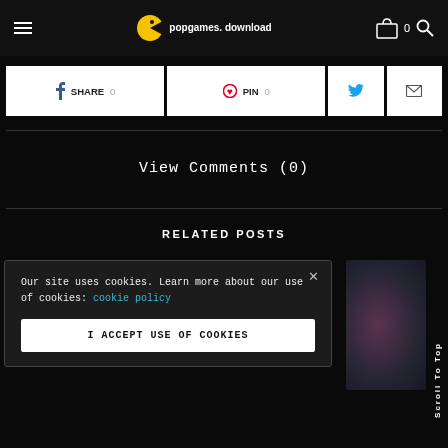popgames.download
[Figure (screenshot): Social share buttons: Facebook SHARE 0, Pinterest PIN 0, Twitter, Email]
View Comments (0)
RELATED POSTS
Our site uses cookies. Learn more about our use of cookies: cookie policy
I ACCEPT USE OF COOKIES
Scroll To Top